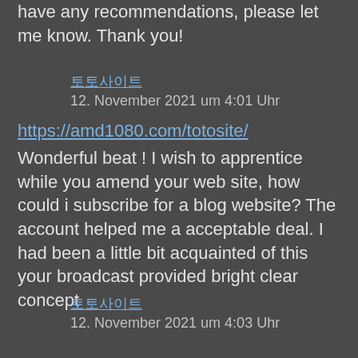have any recommendations, please let me know. Thank you!
토토사이트
12. November 2021 um 4:01 Uhr
https://amd1080.com/totosite/
Wonderful beat ! I wish to apprentice while you amend your web site, how could i subscribe for a blog website? The account helped me a acceptable deal. I had been a little bit acquainted of this your broadcast provided bright clear concept
토토사이트
12. November 2021 um 4:03 Uhr